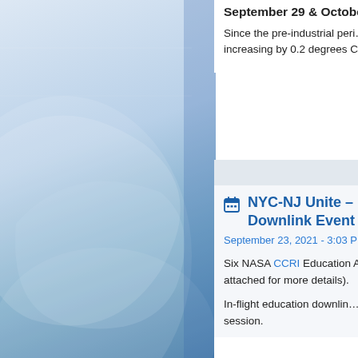[Figure (illustration): Left decorative panel with blue gradient background and abstract swirl/shape overlay representing earth or globe imagery]
September 29 & October 6
Since the pre-industrial period, humans have raised the Earth's average temperature by about 1.1 degrees Celsius, and it is currently increasing by 0.2 degrees Celsius per decade. The rise in Earth's average temperature is driv…
NYC-NJ Unite – [Downlink Event]
September 23, 2021 - 3:03 PM
Six NASA CCRI Education A… flight education downlink s… attached for more details).
In-flight education downlin… astronauts aboard the Inter… session.